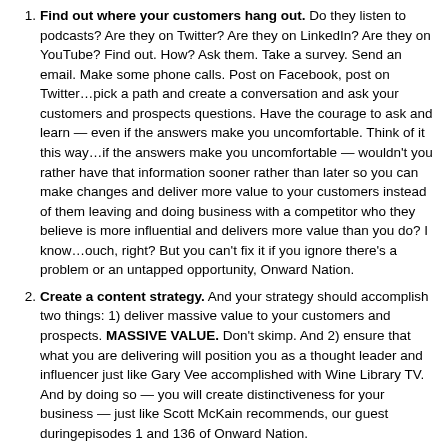Find out where your customers hang out. Do they listen to podcasts? Are they on Twitter? Are they on LinkedIn? Are they on YouTube? Find out. How? Ask them. Take a survey. Send an email. Make some phone calls. Post on Facebook, post on Twitter…pick a path and create a conversation and ask your customers and prospects questions. Have the courage to ask and learn — even if the answers make you uncomfortable. Think of it this way…if the answers make you uncomfortable — wouldn't you rather have that information sooner rather than later so you can make changes and deliver more value to your customers instead of them leaving and doing business with a competitor who they believe is more influential and delivers more value than you do? I know…ouch, right? But you can't fix it if you ignore there's a problem or an untapped opportunity, Onward Nation.
Create a content strategy. And your strategy should accomplish two things: 1) deliver massive value to your customers and prospects. MASSIVE VALUE. Don't skimp. And 2) ensure that what you are delivering will position you as a thought leader and influencer just like Gary Vee accomplished with Wine Library TV. And by doing so — you will create distinctiveness for your business — just like Scott McKain recommends, our guest duringepisodes 1 and 136 of Onward Nation.
Ignore the Imposter Syndrome. Push past it and begin building your content, building your platform, and prepare for launch. Don't let the questions in your head derail your success. I encourage you to go back and re-listen to episode 158 — which I dedicated toward